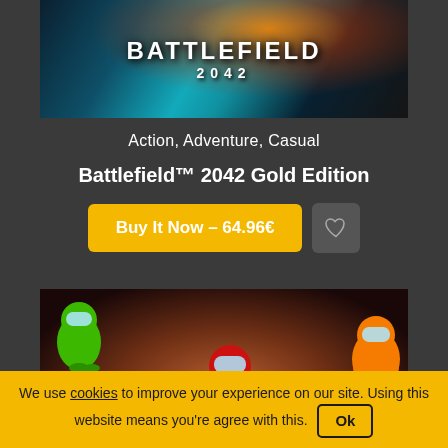[Figure (screenshot): Battlefield 2042 game cover image with teal/orange explosion background and BATTLEFIELD 2042 title text]
Action, Adventure, Casual
Battlefield™ 2042 Gold Edition
Buy It Now – 64.96€
[Figure (screenshot): Among Us game banner with green, red, orange, and blue crewmates on dark space background with AMONG US title text]
Casual
We use cookies to improve your experience on our site. Using this website means you're agree with this. Ok